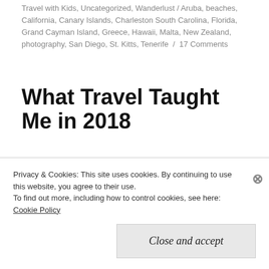Travel with Kids, Uncategorized, Wanderlust / Aruba, beaches, California, Canary Islands, Charleston South Carolina, Florida, Grand Cayman Island, Greece, Hawaii, Malta, New Zealand, photography, San Diego, St. Kitts, Tenerife / 17 Comments
What Travel Taught Me in 2018
I always like to re-cap my year in travels by noting all of the things I learned while I was
Privacy & Cookies: This site uses cookies. By continuing to use this website, you agree to their use.
To find out more, including how to control cookies, see here:
Cookie Policy
Close and accept